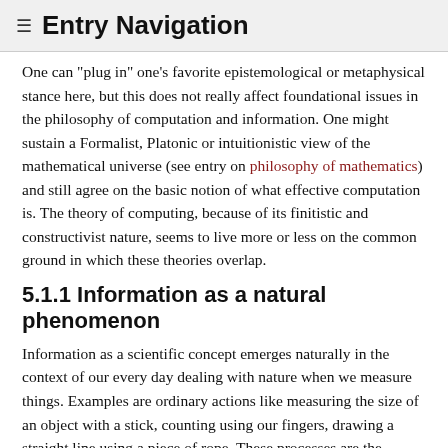≡ Entry Navigation
One can "plug in" one's favorite epistemological or metaphysical stance here, but this does not really affect foundational issues in the philosophy of computation and information. One might sustain a Formalist, Platonic or intuitionistic view of the mathematical universe (see entry on philosophy of mathematics) and still agree on the basic notion of what effective computation is. The theory of computing, because of its finitistic and constructivist nature, seems to live more or less on the common ground in which these theories overlap.
5.1.1 Information as a natural phenomenon
Information as a scientific concept emerges naturally in the context of our every day dealing with nature when we measure things. Examples are ordinary actions like measuring the size of an object with a stick, counting using our fingers, drawing a straight line using a piece of rope. These processes are the anchor points of abstract concepts like length, distance, number, straight line that form the building blocks of science. The fact that these